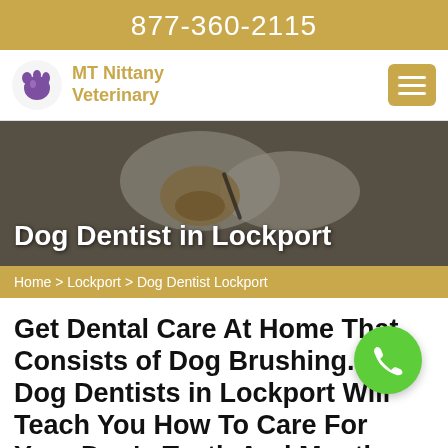877-360-2115
[Figure (logo): MT Nittany Veterinary logo with purple dog/pet icon and gold text]
[Figure (photo): Veterinarian in white gloves examining a dog's teeth and mouth]
Dog Dentist in Lockport
Home > Lockport > Dog Dentist Lockport
Get Dental Care At Home That Consists of Dog Brushing. Our Dog Dentists in Lockport Will Teach You How To Care For Your Dog's Teeth And Mouth. We Are